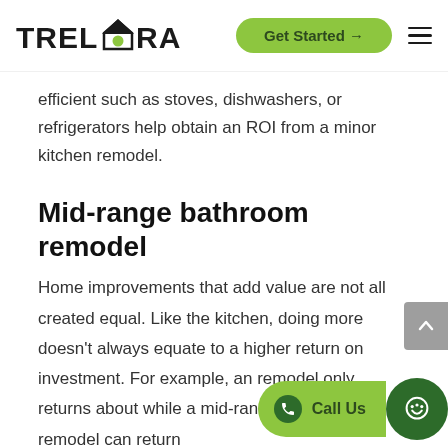TRELORA | Get Started →
efficient such as stoves, dishwashers, or refrigerators help obtain an ROI from a minor kitchen remodel.
Mid-range bathroom remodel
Home improvements that add value are not all created equal. Like the kitchen, doing more doesn't always equate to a higher return on investment. For example, an remodel only returns about while a mid-range bathroom remodel can return